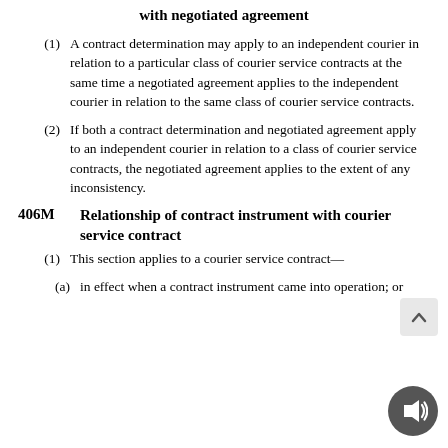with negotiated agreement
(1) A contract determination may apply to an independent courier in relation to a particular class of courier service contracts at the same time a negotiated agreement applies to the independent courier in relation to the same class of courier service contracts.
(2) If both a contract determination and negotiated agreement apply to an independent courier in relation to a class of courier service contracts, the negotiated agreement applies to the extent of any inconsistency.
406M Relationship of contract instrument with courier service contract
(1) This section applies to a courier service contract—
(a) in effect when a contract instrument came into operation; or